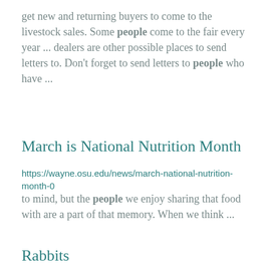get new and returning buyers to come to the livestock sales. Some people come to the fair every year ... dealers are other possible places to send letters to. Don't forget to send letters to people who have ...
March is National Nutrition Month
https://wayne.osu.edu/news/march-national-nutrition-month-0
to mind, but the people we enjoy sharing that food with are a part of that memory. When we think ...
Rabbits